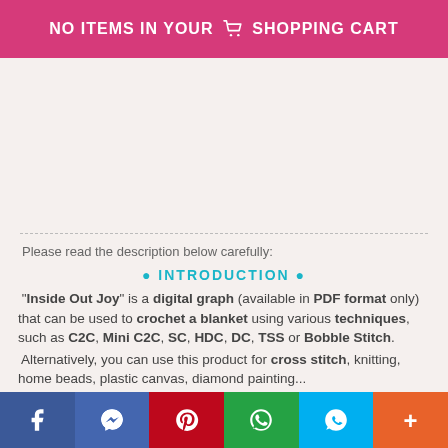NO ITEMS IN YOUR SHOPPING CART
Please read the description below carefully:
• INTRODUCTION •
"Inside Out Joy" is a digital graph (available in PDF format only) that can be used to crochet a blanket using various techniques, such as C2C, Mini C2C, SC, HDC, DC, TSS or Bobble Stitch. Alternatively, you can use this product for cross stitch, knitting, home beads, plastic canvas, diamond painting...